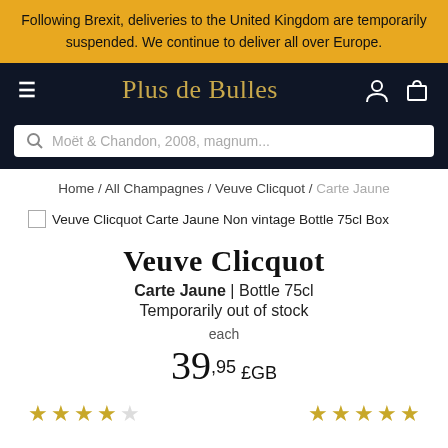Following Brexit, deliveries to the United Kingdom are temporarily suspended. We continue to deliver all over Europe.
Plus de Bulles
Moët & Chandon, 2008, magnum...
Home / All Champagnes / Veuve Clicquot / Carte Jaune
Veuve Clicquot Carte Jaune Non vintage Bottle 75cl Box
Veuve Clicquot
Carte Jaune | Bottle 75cl
Temporarily out of stock
each
39,95 £GB
[Figure (other): Two sets of star ratings: left shows 3.5 out of 5 stars (4 filled, 1 empty), right shows 5 out of 5 stars (5 filled partially).]